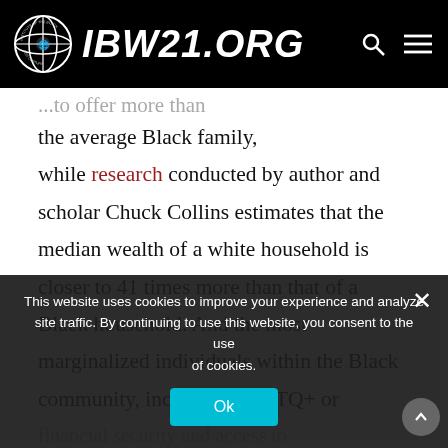IBW21.ORG
...to offer more than the average Black family, while research conducted by author and scholar Chuck Collins estimates that the median wealth of a white household is closer to 41 times more than that of a Black household. And the most marginalized individuals within the Black community, including LGBTQ+ or ... financial security and access to resources.
This website uses cookies to improve your experience and analyze site traffic. By continuing to use this website, you consent to the use of cookies.